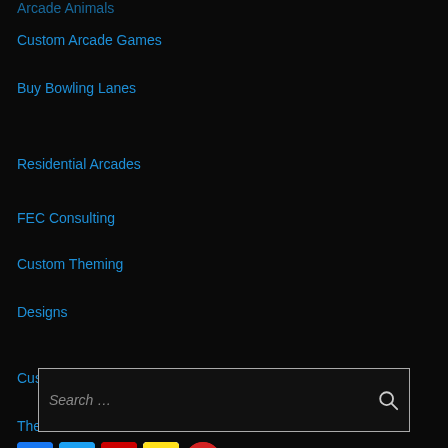Arcade Animals
Custom Arcade Games
Buy Bowling Lanes
Residential Arcades
FEC Consulting
Custom Theming
Designs
Custom Foam Props & Sculptures
Themed Environments
Search …
[Figure (infographic): Social media icon bar: Facebook, Twitter, YouTube, Mailchimp (M), Yelp icons]